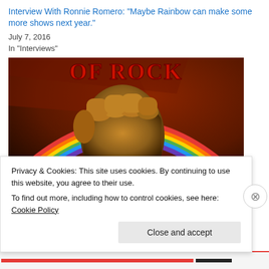Interview With Ronnie Romero: "Maybe Rainbow can make some more shows next year."
July 7, 2016
In "Interviews"
[Figure (photo): Album artwork showing a fist raised against a rainbow background with text 'OF ROCK' in red at top and 'Ritchie Blackmore's Rainbow' in yellow gothic lettering at bottom]
Privacy & Cookies: This site uses cookies. By continuing to use this website, you agree to their use.
To find out more, including how to control cookies, see here: Cookie Policy
Close and accept